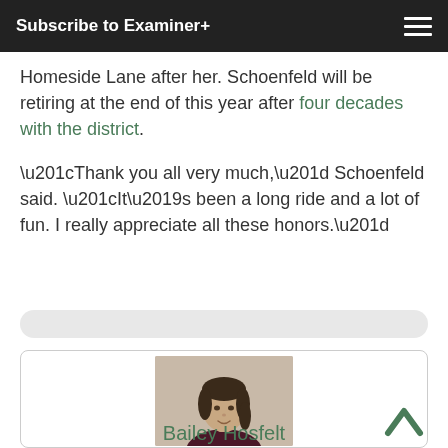Subscribe to Examiner+
Homeside Lane after her. Schoenfeld will be retiring at the end of this year after four decades with the district.
“Thank you all very much,” Schoenfeld said. “It’s been a long ride and a lot of fun. I really appreciate all these honors.”
[Figure (photo): Headshot photo of Bailey Hosfelt, a young woman with dark hair wearing a dark maroon top, photographed against a light wall background.]
Bailey Hosfelt